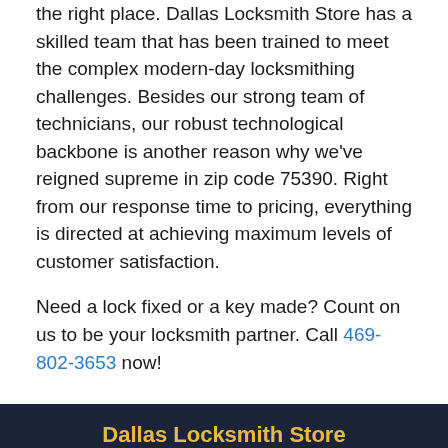the right place. Dallas Locksmith Store has a skilled team that has been trained to meet the complex modern-day locksmithing challenges. Besides our strong team of technicians, our robust technological backbone is another reason why we've reigned supreme in zip code 75390. Right from our response time to pricing, everything is directed at achieving maximum levels of customer satisfaction.
Need a lock fixed or a key made? Count on us to be your locksmith partner. Call 469-802-3653 now!
Dallas Locksmith Store | Dallas Locksmith Store | Hours: Monday through Sunday, All day [ map & reviews ] | Phone: 469-802-3653 | https://www.DallasLocksmithStore.com | Dallas, TX 75249 (Dispatch Location) | Home | Residential | Commercial | Automotive |